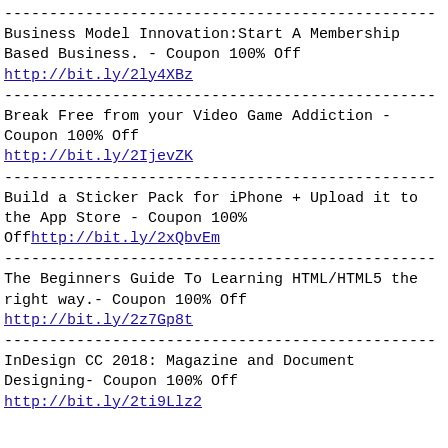------------------------------------------------
Business Model Innovation:Start A Membership Based Business. - Coupon 100% Off
http://bit.ly/2ly4XBz
------------------------------------------------
Break Free from your Video Game Addiction - Coupon 100% Off
http://bit.ly/2IjevZK
------------------------------------------------
Build a Sticker Pack for iPhone + Upload it to the App Store - Coupon 100% Offhttp://bit.ly/2xQbvEm
------------------------------------------------
The Beginners Guide To Learning HTML/HTML5 the right way.- Coupon 100% Off
http://bit.ly/2z7Gp8t
------------------------------------------------
InDesign CC 2018: Magazine and Document Designing- Coupon 100% Off
http://bit.ly/2ti9Llz2